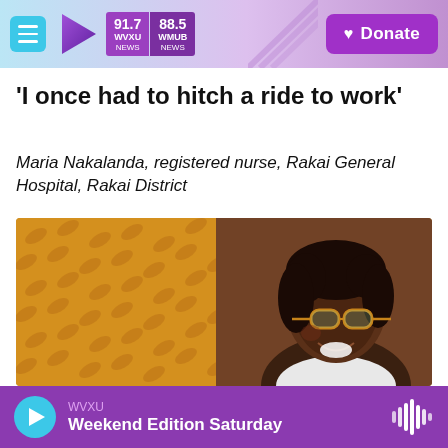91.7 WVXU NEWS | 88.5 WHUB NEWS | Donate
'I once had to hitch a ride to work'
Maria Nakalanda, registered nurse, Rakai General Hospital, Rakai District
[Figure (photo): Photo of Maria Nakalanda, a young woman wearing glasses and smiling, standing beside an orange diamond-plate metal surface]
WVXU Weekend Edition Saturday